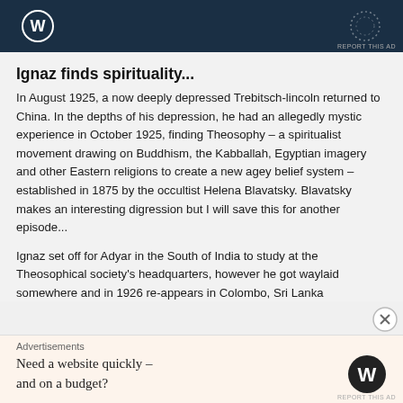[Figure (screenshot): Top advertisement banner with dark navy background, WordPress logo on left, dotted circle on right, REPORT THIS AD label at bottom right]
Ignaz finds spirituality...
In August 1925, a now deeply depressed Trebitsch-lincoln returned to China. In the depths of his depression, he had an allegedly mystic experience in October 1925, finding Theosophy – a spiritualist movement drawing on Buddhism, the Kabballah, Egyptian imagery and other Eastern religions to create a new agey belief system – established in 1875 by the occultist Helena Blavatsky. Blavatsky makes an interesting digression but I will save this for another episode...
Ignaz set off for Adyar in the South of India to study at the Theosophical society's headquarters, however he got waylaid somewhere and in 1926 re-appears in Colombo, Sri Lanka
[Figure (screenshot): Bottom advertisement: beige background, Advertisements label, text 'Need a website quickly – and on a budget?' with WordPress logo on right, REPORT THIS AD at bottom right]